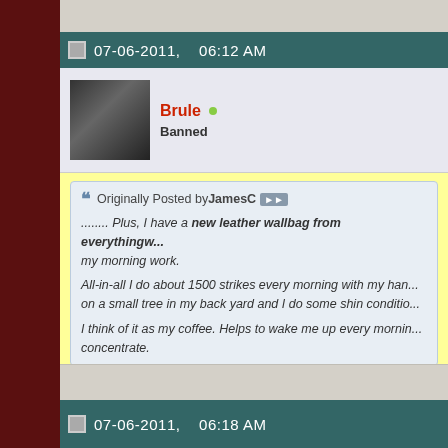07-06-2011,   06:12 AM
[Figure (photo): Forum user avatar showing two people, small profile image]
Brule  Banned
Originally Posted by JamesC
........ Plus, I have a new leather wallbag from everythingw... my morning work.
All-in-all I do about 1500 strikes every morning with my han... on a small tree in my back yard and I do some shin conditio...
I think of it as my coffee. Helps to wake me up every mornin... concentrate.
you just broke the code. If you're going to buy a piece of equipmen... Arts Mart, don't mention it here. Gene will be sending his minions o... yo azz.
07-06-2011,   06:18 AM